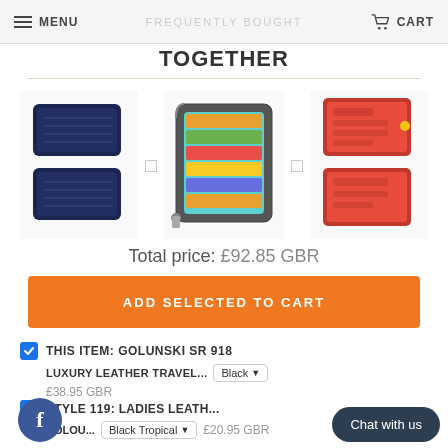MENU | FREQUENTLY BOUGHT | CART
FREQUENTLY BOUGHT TOGETHER
[Figure (photo): Three product photos of leather wallets/purses separated by plus signs: a navy blue travel wallet, a multi-card zip wallet, and a red purse/wallet set]
Total price: £92.85 GBR
ADD SELECTED TO CART
THIS ITEM: GOLUNSKI SR 918
LUXURY LEATHER TRAVEL...  Black  £38.95 GBR
STYLE 119: LADIES LEATH... COLOU...  Black Tropical  £20.95 GBR
Chat with us